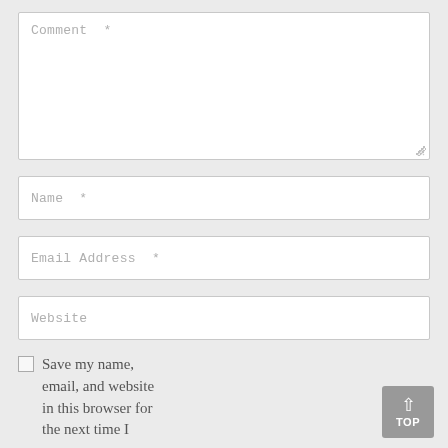[Figure (screenshot): Web comment form with fields for Comment, Name, Email Address, Website, a checkbox to save info for next time, and a back-to-top button.]
Comment *
Name *
Email Address *
Website
Save my name, email, and website in this browser for the next time I